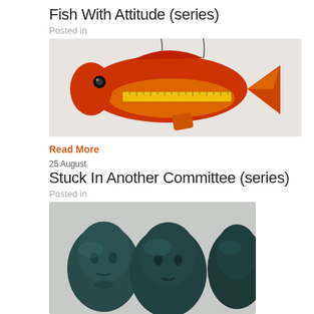Fish With Attitude (series)
Posted in
[Figure (photo): A red and orange wooden fish sculpture with a yellow ruler embedded in it, hanging from wire hooks against a light background.]
Read More
25 August
Stuck In Another Committee (series)
Posted in
[Figure (photo): Three dark teal/black sculptural human head busts grouped together, viewed from a slight angle against a light background.]